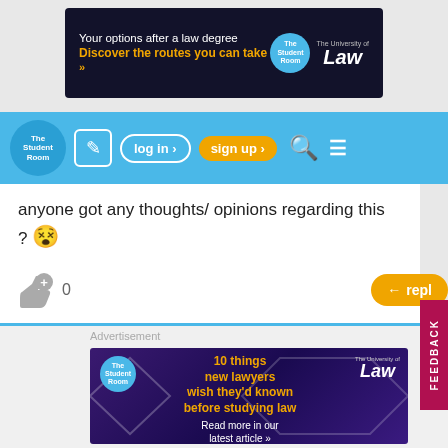[Figure (screenshot): Top advertisement banner: The Student Room / University of Law - 'Your options after a law degree. Discover the routes you can take »']
[Figure (screenshot): Navigation bar with The Student Room logo, edit icon, log in button, sign up button, search icon, hamburger menu]
anyone got any thoughts/ opinions regarding this ? 😵
[Figure (screenshot): Like button with +0 count and reply button]
[Figure (screenshot): Advertisement banner: '10 things new lawyers wish they'd known before studying law. Read more in our latest article »' - The Student Room / University of Law]